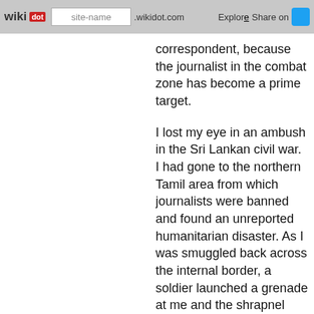wikidot | site-name | .wikidot.com | Explore | Share on
correspondent, because the journalist in the combat zone has become a prime target.
I lost my eye in an ambush in the Sri Lankan civil war. I had gone to the northern Tamil area from which journalists were banned and found an unreported humanitarian disaster. As I was smuggled back across the internal border, a soldier launched a grenade at me and the shrapnel sliced into my face and chest. He knew what he was doing.
Just last week, I had a coffee in Afghanistan with a photographer friend, Joao Silva. We talked about the terror of